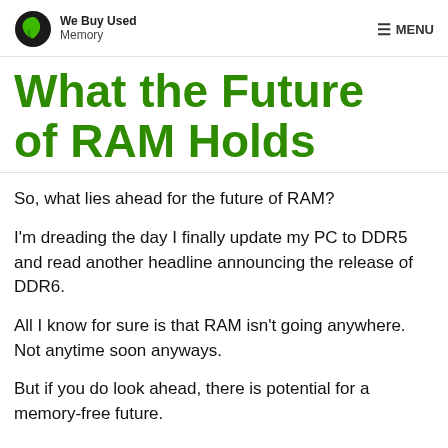We Buy Used Memory | MENU
What the Future of RAM Holds
So, what lies ahead for the future of RAM?
I’m dreading the day I finally update my PC to DDR5 and read another headline announcing the release of DDR6.
All I know for sure is that RAM isn’t going anywhere. Not anytime soon anyways.
But if you do look ahead, there is potential for a memory-free future.